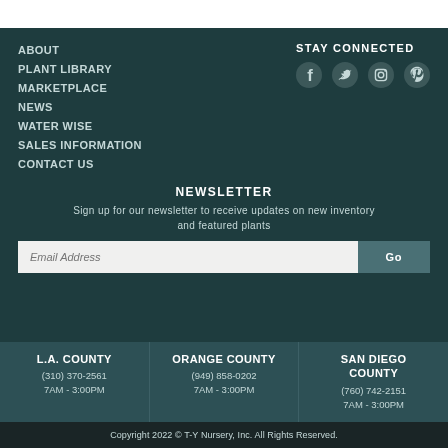ABOUT
PLANT LIBRARY
MARKETPLACE
NEWS
WATER WISE
SALES INFORMATION
CONTACT US
STAY CONNECTED
[Figure (infographic): Social media icons: Facebook, Twitter, Instagram, Pinterest]
NEWSLETTER
Sign up for our newsletter to receive updates on new inventory and featured plants
Email Address | Go
L.A. COUNTY
(310) 370-2561
7AM - 3:00PM
ORANGE COUNTY
(949) 858-0202
7AM - 3:00PM
SAN DIEGO COUNTY
(760) 742-2151
7AM - 3:00PM
Copyright 2022 © T-Y Nursery, Inc. All Rights Reserved.